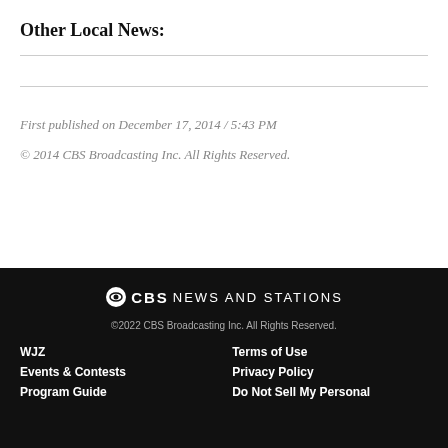Other Local News:
First published on December 17, 2014 / 5:43 PM
© 2014 CBS Broadcasting Inc. All Rights Reserved.
CBS NEWS AND STATIONS
©2022 CBS Broadcasting Inc. All Rights Reserved.
WJZ | Terms of Use
Events & Contests | Privacy Policy
Program Guide | Do Not Sell My Personal